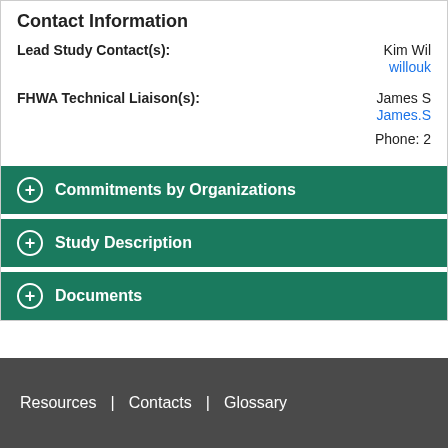Contact Information
Lead Study Contact(s): Kim Wil...
willouk...
FHWA Technical Liaison(s): James S...
James.S...
Phone: 2...
Commitments by Organizations
Study Description
Documents
Resources | Contacts | Glossary